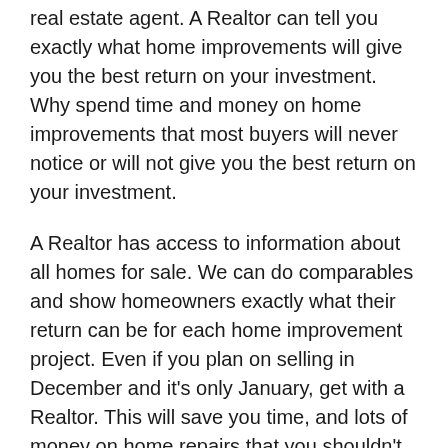real estate agent. A Realtor can tell you exactly what home improvements will give you the best return on your investment. Why spend time and money on home improvements that most buyers will never notice or will not give you the best return on your investment.
A Realtor has access to information about all homes for sale. We can do comparables and show homeowners exactly what their return can be for each home improvement project. Even if you plan on selling in December and it's only January, get with a Realtor. This will save you time, and lots of money on home repairs that you shouldn't do. Realtors will make sure that you make improvements to your home which will return the investment with a good profit. We can also give you advice about what colors most buyers are looking for in a home. So don't hesitate to talk to a Realtor today.